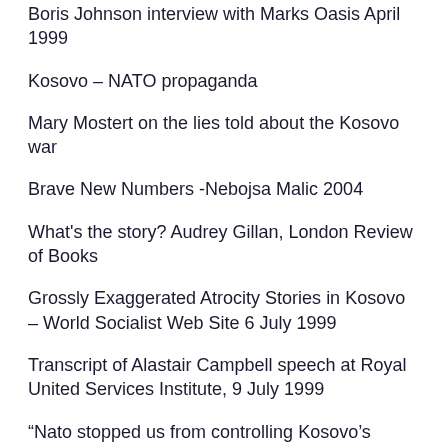Boris Johnson interview with Marks Oasis April 1999
Kosovo – NATO propaganda
Mary Mostert on the lies told about the Kosovo war
Brave New Numbers -Nebojsa Malic 2004
What's the story? Audrey Gillan, London Review of Books
Grossly Exaggerated Atrocity Stories in Kosovo – World Socialist Web Site 6 July 1999
Transcript of Alastair Campbell speech at Royal United Services Institute, 9 July 1999
“Nato stopped us from controlling Kosovo’s gangsters”- The Times 16 December 2010
An Evil Little War – by Nebojsa Malic 24...